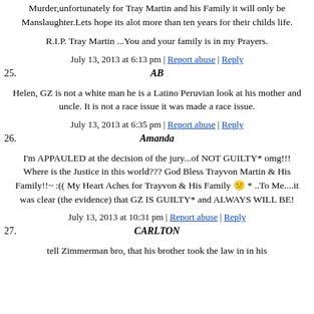Murder,unfortunately for Tray Martin and his Family it will only be Manslaughter.Lets hope its alot more than ten years for their childs life.
R.I.P. Tray Martin ...You and your family is in my Prayers.
July 13, 2013 at 6:13 pm | Report abuse | Reply
25. AB
Helen, GZ is not a white man he is a Latino Peruvian look at his mother and uncle. It is not a race issue it was made a race issue.
July 13, 2013 at 6:35 pm | Report abuse | Reply
26. Amanda
I'm APPAULED at the decision of the jury...of NOT GUILTY* omg!!! Where is the Justice in this world??? God Bless Trayvon Martin & His Family!!~ :(( My Heart Aches for Trayvon & His Family 😕 * ..To Me....it was clear (the evidence) that GZ IS GUILTY* and ALWAYS WILL BE!
July 13, 2013 at 10:31 pm | Report abuse | Reply
27. CARLTON
tell Zimmerman bro, that his brother took the law in in his